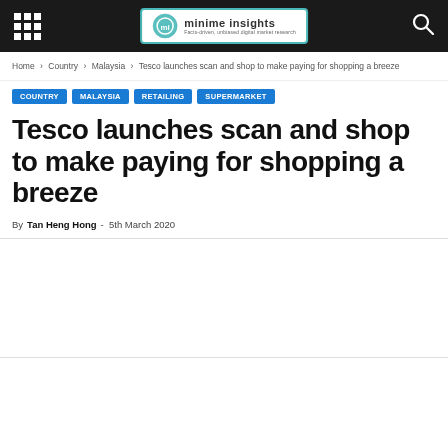minime insights
Home › Country › Malaysia › Tesco launches scan and shop to make paying for shopping a breeze
COUNTRY
MALAYSIA
RETAILING
SUPERMARKET
Tesco launches scan and shop to make paying for shopping a breeze
By Tan Heng Hong - 5th March 2020